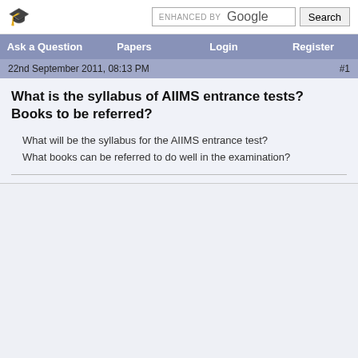ENHANCED BY Google Search
Ask a Question | Papers | Login | Register
22nd September 2011, 08:13 PM  #1
What is the syllabus of AIIMS entrance tests? Books to be referred?
What will be the syllabus for the AIIMS entrance test?
What books can be referred to do well in the examination?